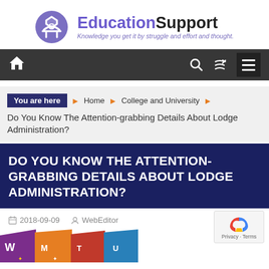[Figure (logo): EducationSupport logo with purple circular icon and text 'EducationSupport' with tagline 'Knowledge you get it by struggle and effort and thought.']
Navigation bar with home icon, search icon, shuffle icon, and menu button
You are here ❯ Home ❯ College and University ❯ Do You Know The Attention-grabbing Details About Lodge Administration?
DO YOU KNOW THE ATTENTION-GRABBING DETAILS ABOUT LODGE ADMINISTRATION?
2018-09-09   WebEditor
[Figure (photo): Partial image of college pennants/flags at the bottom of the page]